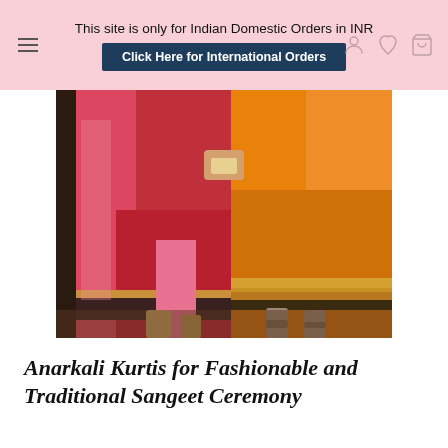This site is only for Indian Domestic Orders in INR | Click Here for International Orders
[Figure (photo): Two women in traditional Indian Anarkali kurtis — one in red/pink with embroidered border, one in orange with gold embroidered border — photographed from waist down at an event.]
Anarkali Kurtis for Fashionable and Traditional Sangeet Ceremony